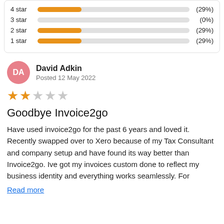[Figure (bar-chart): Star rating distribution]
David Adkin
Posted 12 May 2022
[Figure (other): 2 out of 5 stars rating]
Goodbye Invoice2go
Have used invoice2go for the past 6 years and loved it. Recently swapped over to Xero because of my Tax Consultant and company setup and have found its way better than Invoice2go. Ive got my invoices custom done to reflect my business identity and everything works seamlessly. For
Read more